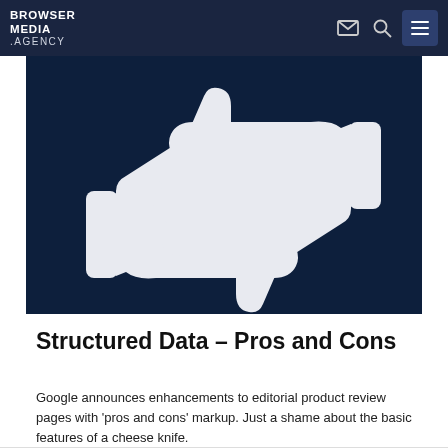BROWSER MEDIA .AGENCY
[Figure (illustration): Thumbs up and thumbs down icons in white on a dark navy blue background, representing pros and cons]
Structured Data – Pros and Cons
Google announces enhancements to editorial product review pages with 'pros and cons' markup. Just a shame about the basic features of a cheese knife.